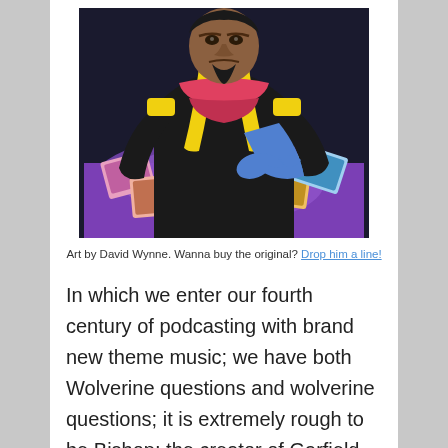[Figure (illustration): Comic book art showing a large muscular man in a black shirt with yellow straps and a pink/red scarf, pointing down at a purple table with several colorful cards spread out on it.]
Art by David Wynne. Wanna buy the original? Drop him a line!
In which we enter our fourth century of podcasting with brand new theme music; we have both Wolverine questions and wolverine questions; it is extremely rough to be Bishop; the creator of Garfield may or may not live in a sewer on Earth-616; Rogue needs better coping